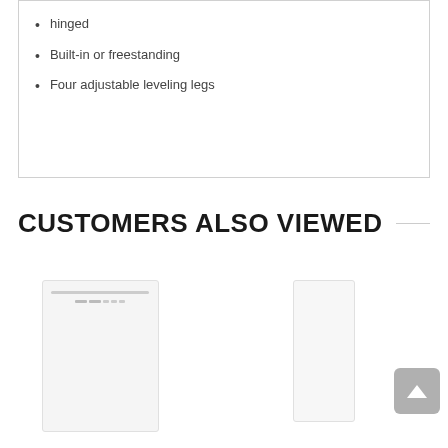hinged
Built-in or freestanding
Four adjustable leveling legs
CUSTOMERS ALSO VIEWED
[Figure (photo): White dishwasher appliance product image]
[Figure (photo): White tall refrigerator or appliance product image]